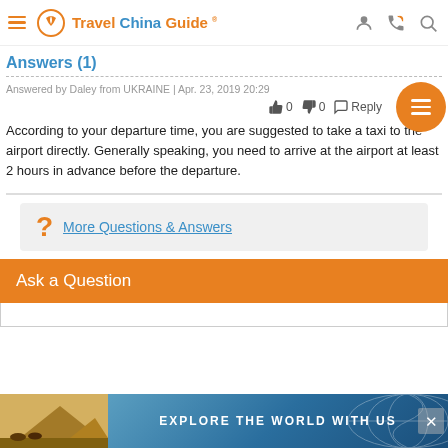Travel China Guide
Answers (1)
Answered by Daley from UKRAINE | Apr. 23, 2019 20:29
According to your departure time, you are suggested to take a taxi to the airport directly. Generally speaking, you need to arrive at the airport at least 2 hours in advance before the departure.
More Questions & Answers
Ask a Question
[Figure (screenshot): Ad banner with pyramids and camels: EXPLORE THE WORLD WITH US]